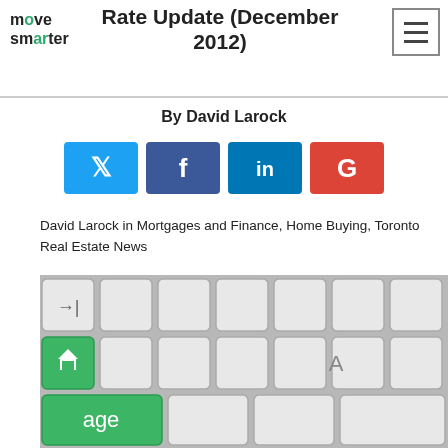Rate Update (December 2012)
By David Larock
[Figure (infographic): Social sharing buttons: Twitter, Facebook, LinkedIn, Google+]
David Larock in Mortgages and Finance, Home Buying, Toronto Real Estate News
[Figure (photo): Close-up photo of a computer keyboard with a green home key showing a house icon]